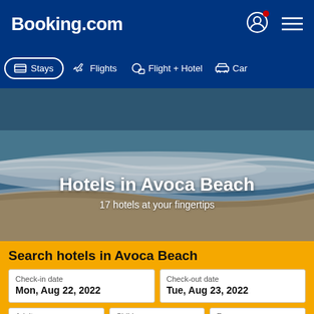Booking.com
Stays  Flights  Flight + Hotel  Car
[Figure (screenshot): Beach waves photo — Avoca Beach coastline with turquoise and sandy tones]
Hotels in Avoca Beach
17 hotels at your fingertips
Search hotels in Avoca Beach
Check-in date
Mon, Aug 22, 2022
Check-out date
Tue, Aug 23, 2022
Adults  Children  Rooms